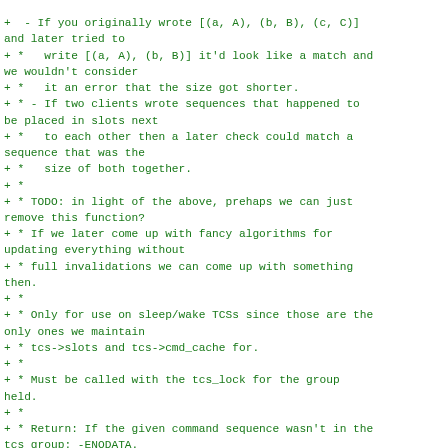Code diff/comment block showing documentation for a function related to TCS (thread command sequences) slot management, including TODO notes and return value documentation.